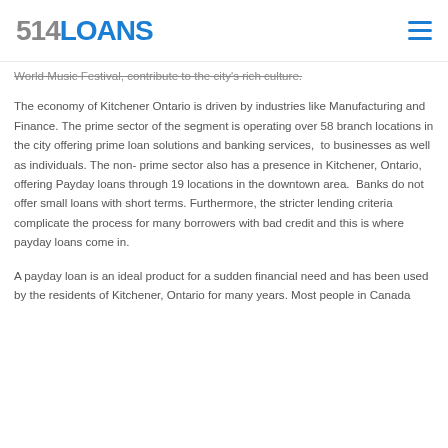514LOANS
World Music Festival, contribute to the city's rich culture. The economy of Kitchener Ontario is driven by industries like Manufacturing and Finance. The prime sector of the segment is operating over 58 branch locations in the city offering prime loan solutions and banking services,  to businesses as well as individuals. The non- prime sector also has a presence in Kitchener, Ontario, offering Payday loans through 19 locations in the downtown area.  Banks do not offer small loans with short terms. Furthermore, the stricter lending criteria complicate the process for many borrowers with bad credit and this is where payday loans come in.
A payday loan is an ideal product for a sudden financial need and has been used by the residents of Kitchener, Ontario for many years. Most people in Canada...